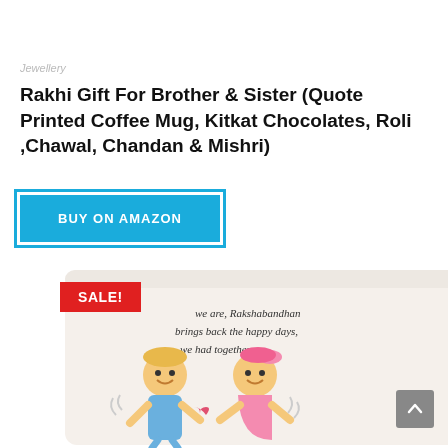Jewellery
Rakhi Gift For Brother & Sister (Quote Printed Coffee Mug, Kitkat Chocolates, Roli ,Chawal, Chandan & Mishri)
BUY ON AMAZON
[Figure (photo): White ceramic coffee mug with a Rakshabandhan quote and cartoon illustrations of a boy and girl. A red SALE! badge overlays the image.]
SALE!